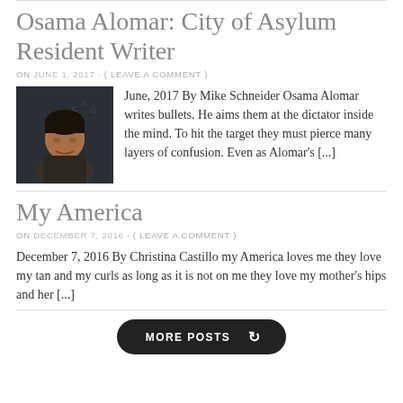Osama Alomar: City of Asylum Resident Writer
ON JUNE 1, 2017 · ( LEAVE A COMMENT )
[Figure (photo): Portrait photo of Osama Alomar, a man facing the camera in front of a dark background with text on a wall]
June, 2017 By Mike Schneider Osama Alomar writes bullets. He aims them at the dictator inside the mind. To hit the target they must pierce many layers of confusion. Even as Alomar's [...]
My America
ON DECEMBER 7, 2016 · ( LEAVE A COMMENT )
December 7, 2016 By Christina Castillo my America loves me they love my tan and my curls as long as it is not on me they love my mother's hips and her [...]
MORE POSTS